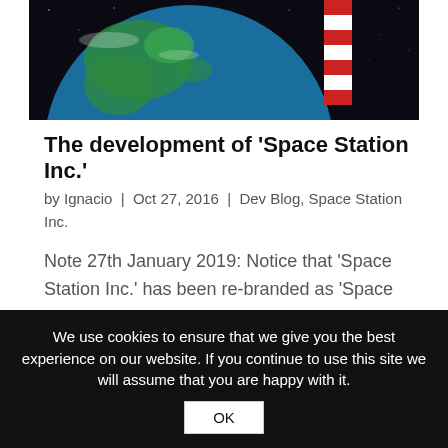[Figure (screenshot): Partial view of Earth from space with a red and white striped rocket/pole visible on the right side, against a black starfield background.]
The development of ‘Space Station Inc.’
by Ignacio | Oct 27, 2016 | Dev Blog, Space Station Inc.
Note 27th January 2019: Notice that ‘Space Station Inc.’ has been re-branded as ‘Space Station Designer’, which is under heavy development. We’ve decided to leave this blog post for historical reasons. Hello! Good to see
We use cookies to ensure that we give you the best experience on our website. If you continue to use this site we will assume that you are happy with it.